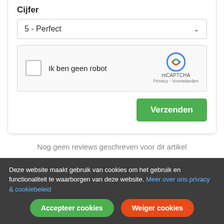Cijfer
[Figure (screenshot): Dropdown select box showing '5 - Perfect' with a chevron arrow]
[Figure (screenshot): reCAPTCHA widget with checkbox labeled 'Ik ben geen robot', reCAPTCHA logo, and Privacy - Voorwaarden links]
Verzenden
Nog geen reviews geschreven voor dit artikel
Ook besteld
[Figure (photo): Product image placeholder with colorful pattern]
Deze website maakt gebruik van cookies om het gebruik en functionaliteit te waarborgen van deze website. Meer over ons privacy & cookiebeleid
Accepteer cookies
Weiger cookies